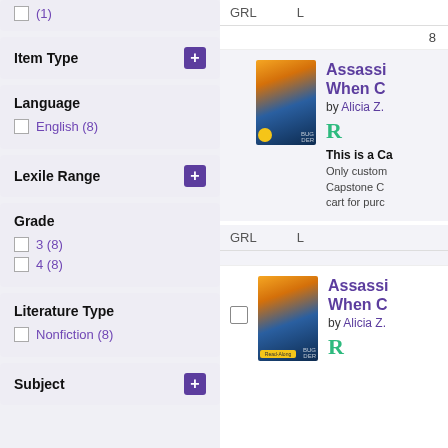(1)
Item Type
Language
English (8)
Lexile Range
Grade
3 (8)
4 (8)
Literature Type
Nonfiction (8)
Subject
GRL	L
8
Assassi... When C...
by Alicia Z.
R
This is a Ca...
Only custom... Capstone C... cart for purc...
GRL	L
Assassi... When C...
by Alicia Z.
R